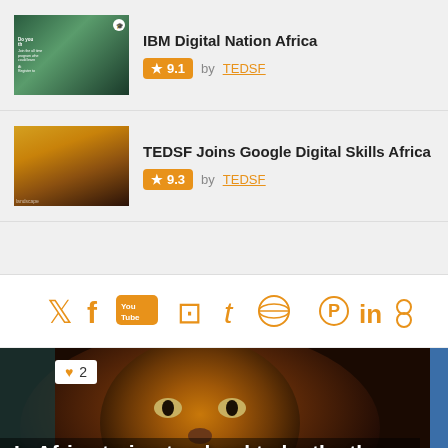IBM Digital Nation Africa — Rating: 9.1 by TEDSF
TEDSF Joins Google Digital Skills Africa — Rating: 9.3 by TEDSF
[Figure (infographic): Social media icons row: Twitter, Facebook, YouTube, Vimeo, Tumblr, Dribbble, Pinterest, LinkedIn, Flickr, RSS — all in orange]
[Figure (photo): Close-up photo of a lion's face with text overlay: Is Africa trying too hard to be the the world's next China?]